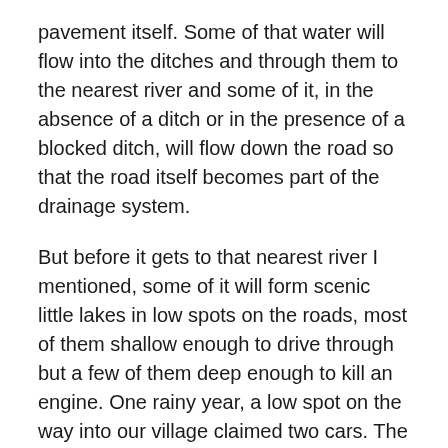pavement itself. Some of that water will flow into the ditches and through them to the nearest river and some of it, in the absence of a ditch or in the presence of a blocked ditch, will flow down the road so that the road itself becomes part of the drainage system.
But before it gets to that nearest river I mentioned, some of it will form scenic little lakes in low spots on the roads, most of them shallow enough to drive through but a few of them deep enough to kill an engine. One rainy year, a low spot on the way into our village claimed two cars. The drivers either didn't notice the flood until they were already in it (that happens surprisingly easily, especially in the dark or just after a blind curve) or they misjudged the depth.
And when the water makes it to the rivers? They rise quickly. This is hilly country, and water around here—oh, I